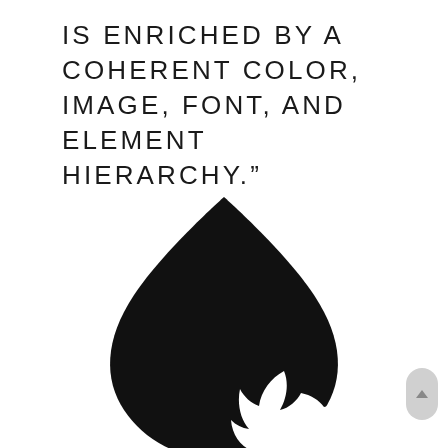IS ENRICHED BY A COHERENT COLOR, IMAGE, FONT, AND ELEMENT HIERARCHY.”
[Figure (logo): Black Drupal teardrop/droplet shape logo containing a white Twitter bird silhouette in its center]